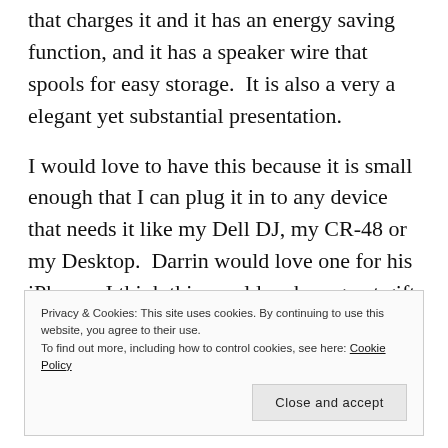that charges it and it has an energy saving function, and it has a speaker wire that spools for easy storage.  It is also a very a elegant yet substantial presentation.
I would love to have this because it is small enough that I can plug it in to any device that needs it like my Dell DJ, my CR-48 or my Desktop.  Darrin would love one for his iPhone.  I think this would make a great gift for anyone who has a birthday coming up (hint hint wink wink).  Click the link for more details.
Privacy & Cookies: This site uses cookies. By continuing to use this website, you agree to their use.
To find out more, including how to control cookies, see here: Cookie Policy
Close and accept